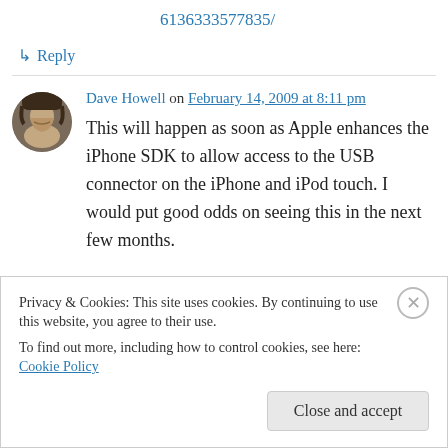6136333577835/
↳ Reply
Dave Howell on February 14, 2009 at 8:11 pm
This will happen as soon as Apple enhances the iPhone SDK to allow access to the USB connector on the iPhone and iPod touch. I would put good odds on seeing this in the next few months.
Privacy & Cookies: This site uses cookies. By continuing to use this website, you agree to their use.
To find out more, including how to control cookies, see here: Cookie Policy
Close and accept